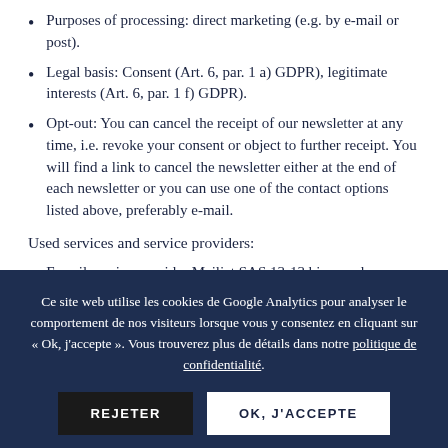Purposes of processing: direct marketing (e.g. by e-mail or post).
Legal basis: Consent (Art. 6, par. 1 a) GDPR), legitimate interests (Art. 6, par. 1 f) GDPR).
Opt-out: You can cancel the receipt of our newsletter at any time, i.e. revoke your consent or object to further receipt. You will find a link to cancel the newsletter either at the end of each newsletter or you can use one of the contact options listed above, preferably e-mail.
Used services and service providers:
E-mail service provider Mailjet SAS,13-13 bis, rue de
Ce site web utilise les cookies de Google Analytics pour analyser le comportement de nos visiteurs lorsque vous y consentez en cliquant sur « Ok, j'accepte ». Vous trouverez plus de détails dans notre politique de confidentialité.
E-mails related to purchase orders and subscription confirmations and all e-mails that are not related to our